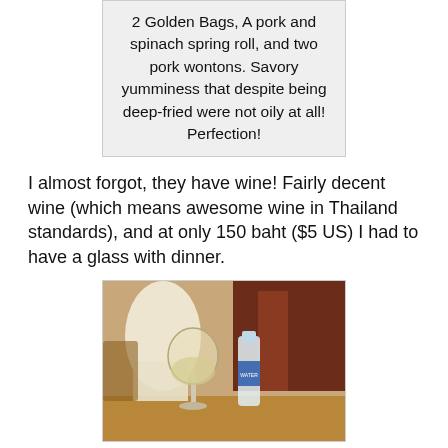2 Golden Bags, A pork and spinach spring roll, and two pork wontons. Savory yumminess that despite being deep-fried were not oily at all! Perfection!
I almost forgot, they have wine! Fairly decent wine (which means awesome wine in Thailand standards), and at only 150 baht ($5 US) I had to have a glass with dinner.
[Figure (photo): Photo of a wine glass with white wine and a water bottle on a table in a restaurant setting.]